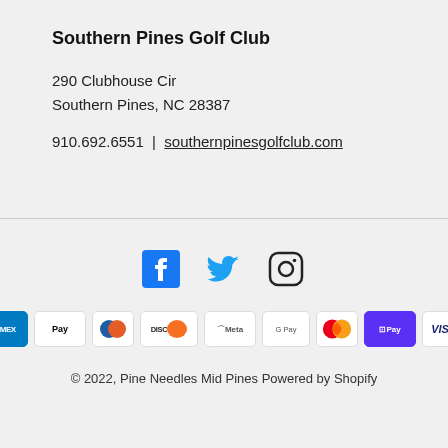Southern Pines Golf Club
290 Clubhouse Cir
Southern Pines, NC 28387
910.692.6551  |  southernpinesgolfclub.com
[Figure (infographic): Social media icons: Facebook, Twitter, Instagram]
[Figure (infographic): Payment method icons: American Express, Apple Pay, Diners Club, Discover, Meta Pay, Google Pay, Mastercard, Shop Pay, Visa]
© 2022, Pine Needles Mid Pines Powered by Shopify